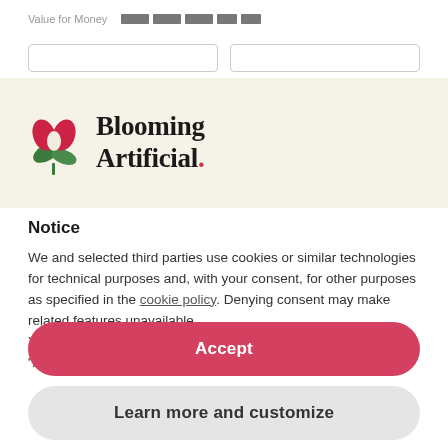Value for Money
[Figure (other): Rating bar made of 5 dark rectangular blocks]
[Figure (logo): Blooming Artificial logo with red and green flower/tulip icon and serif wordmark]
Notice
We and selected third parties use cookies or similar technologies for technical purposes and, with your consent, for other purposes as specified in the cookie policy. Denying consent may make related features unavailable.
You can consent to the use of such technologies by using the “Accept” button.
Accept
Learn more and customize